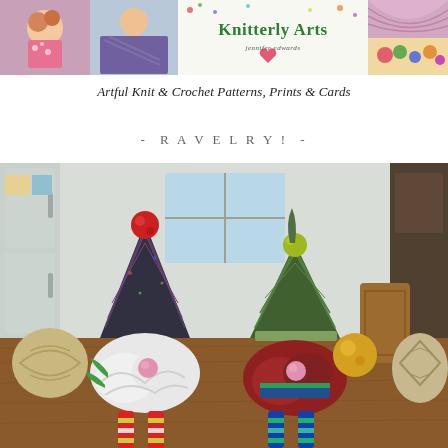[Figure (photo): Knitterly Arts banner header with collage of knit/crochet items, character illustrations, and the text 'Knitterly Arts' with 'jennifer edwards' below it]
Artful Knit & Crochet Patterns, Prints & Cards
- RAVELRY! -
[Figure (photo): Photo of knitted gnome figures with colorful striped legs and pointed hats sitting on a wooden table in a kitchen setting]